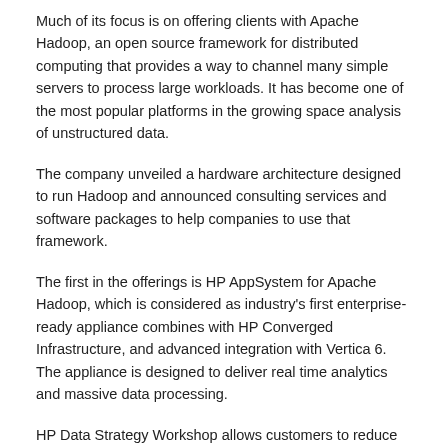Much of its focus is on offering clients with Apache Hadoop, an open source framework for distributed computing that provides a way to channel many simple servers to process large workloads. It has become one of the most popular platforms in the growing space analysis of unstructured data.
The company unveiled a hardware architecture designed to run Hadoop and announced consulting services and software packages to help companies to use that framework.
The first in the offerings is HP AppSystem for Apache Hadoop, which is considered as industry's first enterprise-ready appliance combines with HP Converged Infrastructure, and advanced integration with Vertica 6. The appliance is designed to deliver real time analytics and massive data processing.
HP Data Strategy Workshop allows customers to reduce risk and accelerate decision making by providing a road map to li...